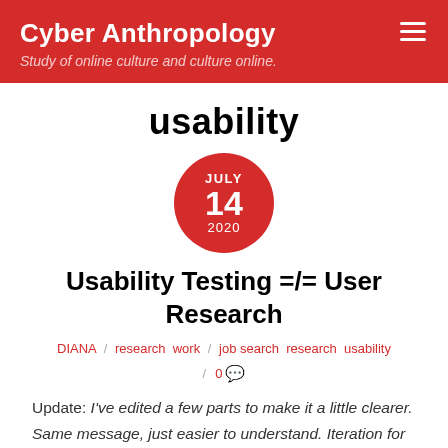Cyber Anthropology — Study of online culture and culture online.
usability
[Figure (infographic): Red circular date badge showing JULY 14 2020]
Usability Testing =/= User Research
DIANA / research work / job search research usability / 0 comments
Update: I've edited a few parts to make it a little clearer. Same message, just easier to understand. Iteration for the win!